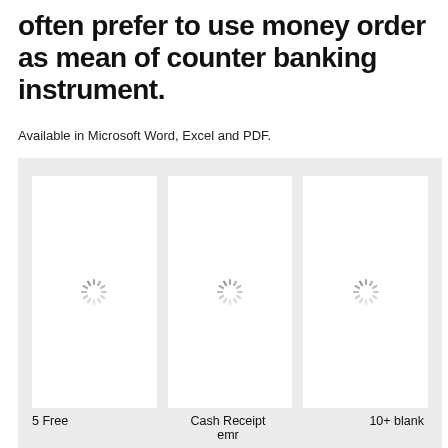often prefer to use money order as mean of counter banking instrument.
Available in Microsoft Word, Excel and PDF.
[Figure (illustration): Three document preview cards displayed side by side on a light grey background, each showing a loading spinner icon in the center of a white card. The cards represent document templates.]
5 Free
Cash Receipt emr
10+ blank